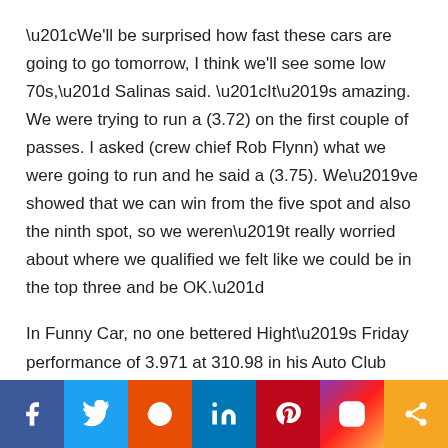“We'll be surprised how fast these cars are going to go tomorrow, I think we'll see some low 70s,” Salinas said. “It’s amazing. We were trying to run a (3.72) on the first couple of passes. I asked (crew chief Rob Flynn) what we were going to run and he said a (3.75). We’ve showed that we can win from the five spot and also the ninth spot, so we weren’t really worried about where we qualified we felt like we could be in the top three and be OK.”
In Funny Car, no one bettered Hight’s Friday performance of 3.971 at 310.98 in his Auto Club Chevy Camaro. He will get an opening round bye as he goes for his fourth victory of the season. It is his
[Figure (infographic): Social sharing bar with buttons for Facebook, Twitter, Reddit, LinkedIn, Pinterest, Instagram, and Share]